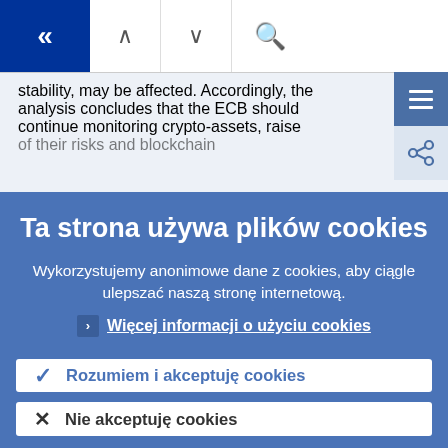[Figure (screenshot): Navigation bar with back (double chevron left), up chevron, down chevron, and search (magnifying glass) buttons on a white background]
stability, may be affected. Accordingly, the analysis concludes that the ECB should continue monitoring crypto-assets, raise
Ta strona używa plików cookies
Wykorzystujemy anonimowe dane z cookies, aby ciągle ulepszać naszą stronę internetową.
› Więcej informacji o użyciu cookies
✓ Rozumiem i akceptuję cookies
✗ Nie akceptuję cookies